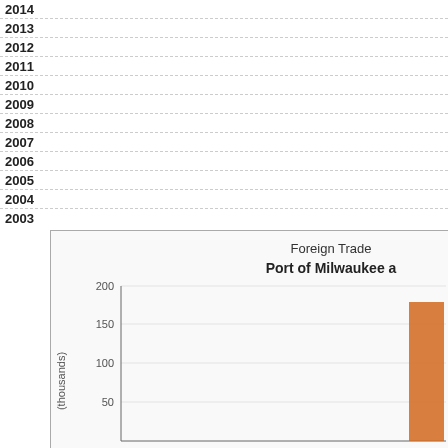| Year |
| --- |
| 2014 |
| 2013 |
| 2012 |
| 2011 |
| 2010 |
| 2009 |
| 2008 |
| 2007 |
| 2006 |
| 2005 |
| 2004 |
| 2003 |
[Figure (bar-chart): Partial bar chart showing foreign trade data for Port of Milwaukee, with y-axis from 50 to 200 (thousands). An orange bar is visible at the right edge reaching approximately 180 thousand.]